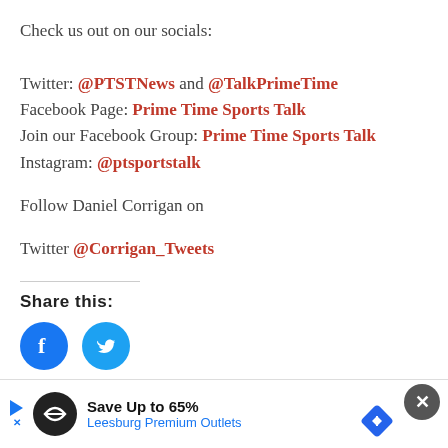Check us out on our socials:

Twitter: @PTSTNews and @TalkPrimeTime
Facebook Page: Prime Time Sports Talk
Join our Facebook Group: Prime Time Sports Talk
Instagram: @ptsportstalk
Follow Daniel Corrigan on
Twitter @Corrigan_Tweets
Share this:
[Figure (illustration): Two circular social share icons: Facebook (blue circle with white 'f' logo) and Twitter (cyan circle with white bird logo)]
Like this:
Loading...
[Figure (illustration): Advertisement bar at the bottom showing 'Save Up to 65% Leesburg Premium Outlets' with logo icons and a close button]